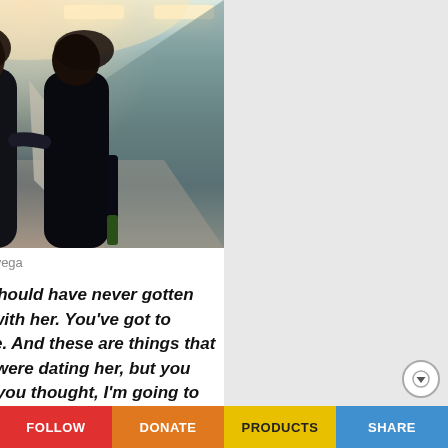[Figure (photo): Two young women in black outfits walking together in a corridor, one holding a wine bottle, one carrying a fur coat, stylish nightlife setting]
Photo by iStock.com/domoyega
Quite frankly, you should have never gotten into a relationship with her. You've got to make a good choice. And these are things that you saw when you were dating her, but you made excuses and you thought, I'm going to
FOLLOW   DONATE   PRODUCTS   SHARE